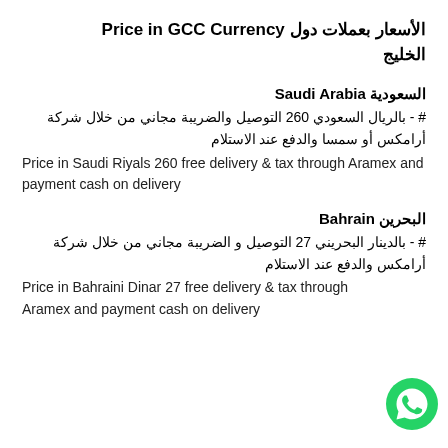الأسعار بعملات دول Price in GCC Currency الخليج
السعودية Saudi Arabia
# - بالريال السعودي 260 التوصيل والضريبة مجاني من خلال شركة أرامكس أو سمسا والدفع عند الاستلام
Price in Saudi Riyals 260 free delivery & tax through Aramex and payment cash on delivery
البحرين Bahrain
# - بالدينار البحريني 27 التوصيل و الضريبة مجاني من خلال شركة أرامكس والدفع عند الاستلام
Price in Bahraini Dinar 27 free delivery & tax through Aramex and payment cash on delivery